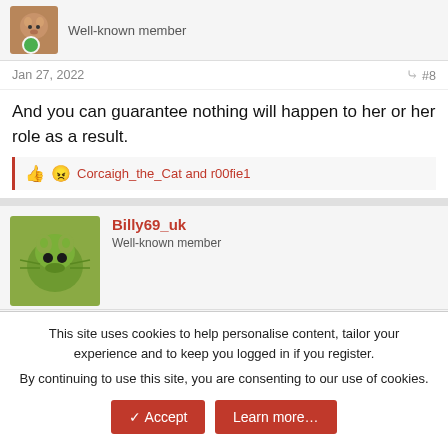Well-known member
Jan 27, 2022  #8
And you can guarantee nothing will happen to her or her role as a result.
Corcaigh_the_Cat and r00fie1
Billy69_uk
Well-known member
Jan 27, 2022  #9
To put this monstrous amount into perspective, the Low carbon vehicle partnership (LowCVP) says
This site uses cookies to help personalise content, tailor your experience and to keep you logged in if you register.
By continuing to use this site, you are consenting to our use of cookies.